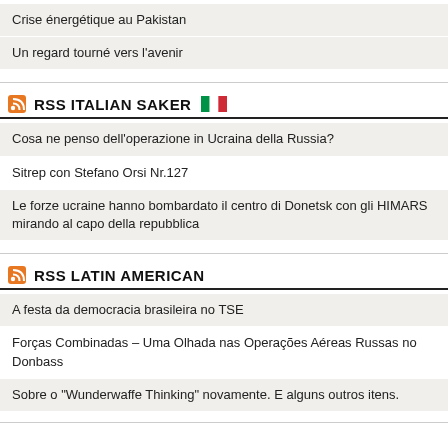Crise énergétique au Pakistan
Un regard tourné vers l’avenir
RSS ITALIAN SAKER
Cosa ne penso dell’operazione in Ucraina della Russia?
Sitrep con Stefano Orsi Nr.127
Le forze ucraine hanno bombardato il centro di Donetsk con gli HIMARS mirando al capo della repubblica
RSS LATIN AMERICAN
A festa da democracia brasileira no TSE
Forças Combinadas – Uma Olhada nas Operações Aéreas Russas no Donbass
Sobre o “Wunderwaffe Thinking” novamente. E alguns outros itens.